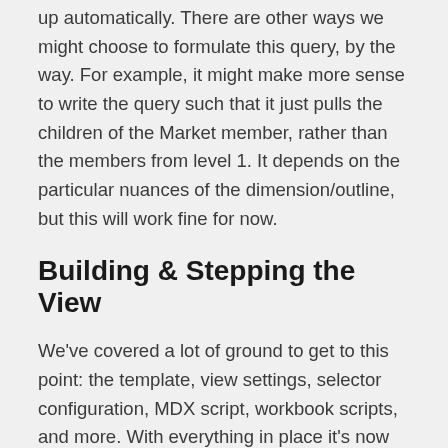up automatically. There are other ways we might choose to formulate this query, by the way. For example, it might make more sense to write the query such that it just pulls the children of the Market member, rather than the members from level 1. It depends on the particular nuances of the dimension/outline, but this will work fine for now.
Building & Stepping the View
We've covered a lot of ground to get to this point: the template, view settings, selector configuration, MDX script, workbook scripts, and more. With everything in place it's now time to run the view. Rather than just showing the built view and calling it a day, I want to do something a little more involved, so you can get a sense of the sequence and operation of the workbook...